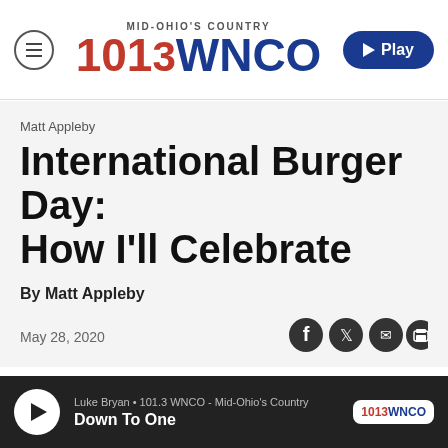[Figure (logo): 101.3 WNCO Mid-Ohio's Country radio station logo with menu button and Play button in header]
Matt Appleby
International Burger Day: How I'll Celebrate
By Matt Appleby
May 28, 2020
[Figure (infographic): Social sharing icons: Facebook, Twitter, Email, Print]
Luke Bryan • 101.3 WNCO - Mid-Ohio's Country
Down To One